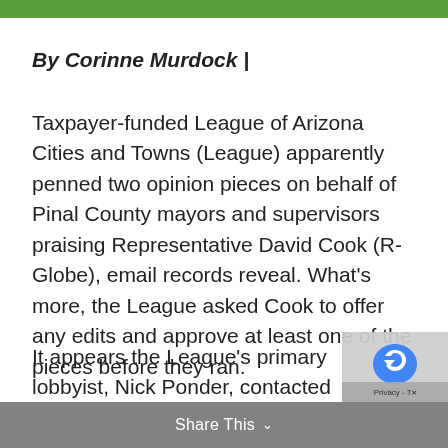By Corinne Murdock |
Taxpayer-funded League of Arizona Cities and Towns (League) apparently penned two opinion pieces on behalf of Pinal County mayors and supervisors praising Representative David Cook (R-Globe), email records reveal. What's more, the League asked Cook to offer any edits and approve at least one of the pieces before they ran.
It appears the League's primary lobbyist, Nick Ponder, contacted Cook about two opinion pieces for Pinal County officials: one on behalf
Share This